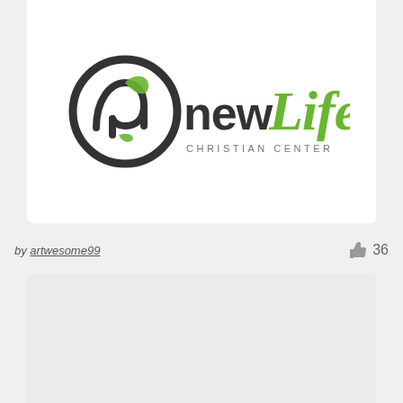[Figure (logo): New Life Christian Center logo — circular dark grey icon with leaf motif and stylized 'n', with 'newLife' in mixed dark grey and green script and 'CHRISTIAN CENTER' in spaced grey capitals beneath]
by artwesome99
36
[Figure (other): Light grey card/panel area at the bottom of the page, appears to be a second design entry card (blank/loading)]